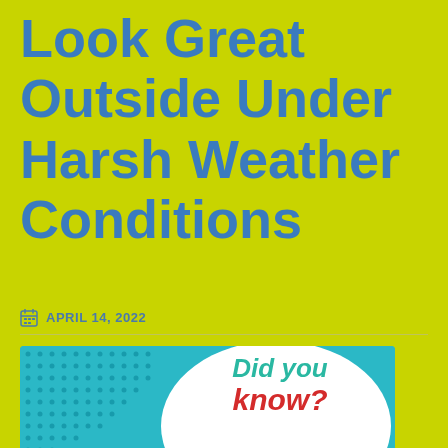Look Great Outside Under Harsh Weather Conditions
APRIL 14, 2022
[Figure (illustration): Promotional 'Did you know?' graphic with teal background with dot pattern on the left and a white circular speech bubble on the right containing the text 'Did you know?' in teal and red bold italic letters]